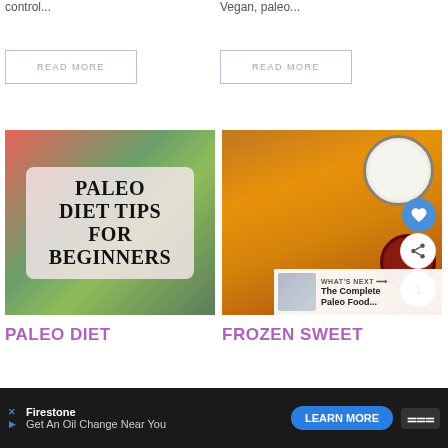control...
Vegan, paleo...
READ MORE
READ MORE
[Figure (photo): Paleo Diet Tips For Beginners - image with fruits and vegetables background with bold text overlay]
[Figure (photo): Frozen sweet potato fries with dipping sauces (white sauce and ketchup), heart and share buttons overlay, What's Next banner showing The Complete Paleo Food...]
PALEO DIET
FROZEN SWEET
Firestone
Get An Oil Change Near You
LEARN MORE